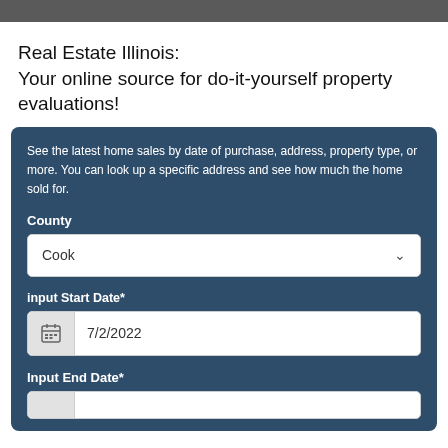Real Estate Illinois:
Your online source for do-it-yourself property evaluations!
See the latest home sales by date of purchase, address, property type, or more. You can look up a specific address and see how much the home sold for.
County
Cook
input Start Date*
7/2/2022
Input End Date*